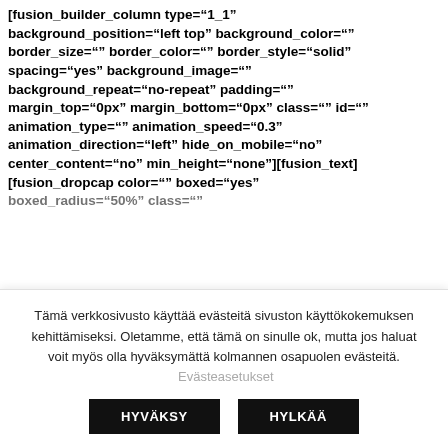[fusion_builder_column type="1_1" background_position="left top" background_color="" border_size="" border_color="" border_style="solid" spacing="yes" background_image="" background_repeat="no-repeat" padding="" margin_top="0px" margin_bottom="0px" class="" id="" animation_type="" animation_speed="0.3" animation_direction="left" hide_on_mobile="no" center_content="no" min_height="none"][fusion_text] [fusion_dropcap color="" boxed="yes" boxed_radius="50%" class=""
Tämä verkkosivusto käyttää evästeitä sivuston käyttökokemuksen kehittämiseksi. Oletamme, että tämä on sinulle ok, mutta jos haluat voit myös olla hyväksymättä kolmannen osapuolen evästeitä.
Evästeasetukset
HYVÄKSY
HYLKÄÄ